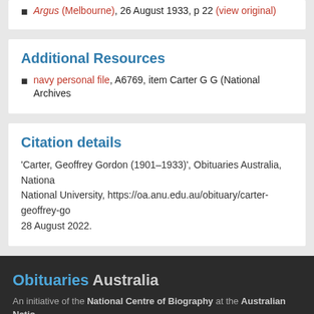Argus (Melbourne), 26 August 1933, p 22 (view original)
Additional Resources
navy personal file, A6769, item Carter G G (National Archives
Citation details
'Carter, Geoffrey Gordon (1901–1933)', Obituaries Australia, Nationa National University, https://oa.anu.edu.au/obituary/carter-geoffrey-go 28 August 2022.
Obituaries Australia — An initiative of the National Centre of Biography at the Australian Natio — © Copyright Obituaries Australia, 2010-2022 — Copyright · Disclam